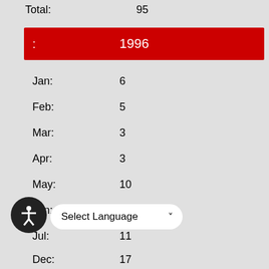Total: 95
: 1996
Jan: 6
Feb: 5
Mar: 3
Apr: 3
May: 10
Jun: 10
Jul: 11
Aug: 7
Sep: 6
Oct: 6
Dec: 17